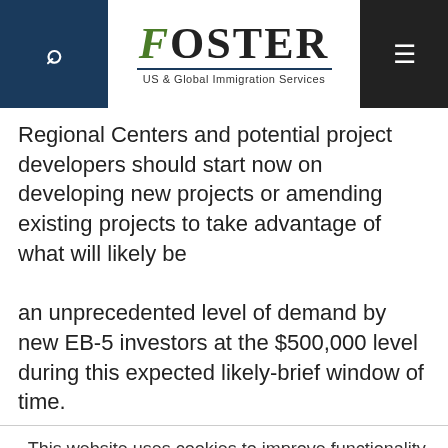[Figure (logo): Foster US & Global Immigration Services logo with search icon on left (dark blue background) and hamburger menu on right (dark background)]
Regional Centers and potential project developers should start now on developing new projects or amending existing projects to take advantage of what will likely be an unprecedented level of demand by new EB-5 investors at the $500,000 level during this expected likely-brief window of time.
This website uses cookies to improve functionality and performance. If you continue browsing the site, you are giving implied consent to the use of cookies and tracking on this website. See our Read More for details.